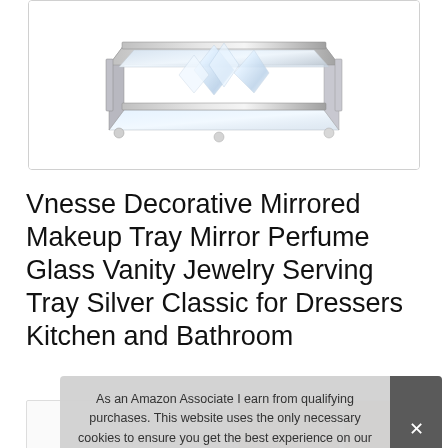[Figure (photo): Product photo of a mirrored decorative tray with crystal/glass decorations and chrome frame with ball feet, shown on white background inside a bordered box]
Vnesse Decorative Mirrored Makeup Tray Mirror Perfume Glass Vanity Jewelry Serving Tray Silver Classic for Dressers Kitchen and Bathroom
#ad
As an Amazon Associate I earn from qualifying purchases. This website uses the only necessary cookies to ensure you get the best experience on our website. More information